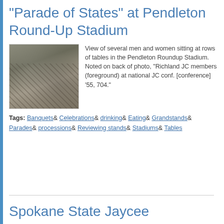"Parade of States" at Pendleton Round-Up Stadium
[Figure (photo): Black and white photograph of several men and women sitting at rows of tables in the Pendleton Roundup Stadium, crowd scene with flags visible]
View of several men and women sitting at rows of tables in the Pendleton Roundup Stadium. Noted on back of photo, "Richland JC members (foreground) at national JC conf. [conference] '55, 704."
Tags: Banquets& Celebrations& drinking& Eating& Grandstands& Parades& processions& Reviewing stands& Stadiums& Tables
Spokane State Jaycee